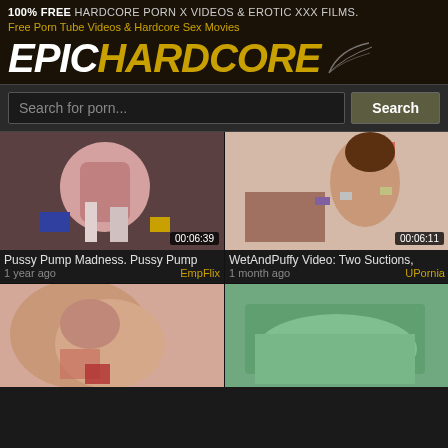100% FREE HARDCORE PORN X VIDEOS & EROTIC XXX FILMS.
Free Porn Tube Videos & Hardcore Sex Movies
[Figure (logo): EpicHardcore logo with stylized gold and white bold italic text and wing graphic]
Search for porn...
[Figure (screenshot): Video thumbnail 1: Pussy Pump Madness. Duration 00:06:39]
Pussy Pump Madness. Pussy Pump
1 year ago   EmpFlix
[Figure (screenshot): Video thumbnail 2: WetAndPuffy Video: Two Suctions. Duration 00:06:11]
WetAndPuffy Video: Two Suctions,
1 month ago   UPornia
[Figure (screenshot): Video thumbnail 3: bottom-left partial thumbnail]
[Figure (screenshot): Video thumbnail 4: bottom-right partial thumbnail showing green fabric]